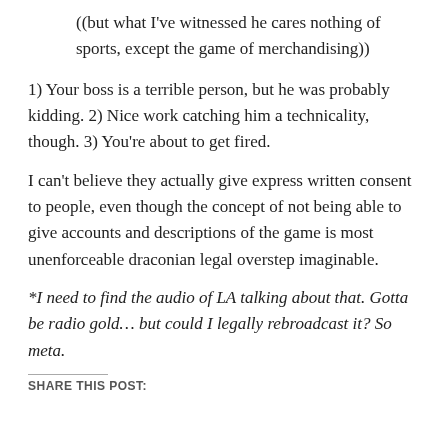((but what I’ve witnessed he cares nothing of sports, except the game of merchandising))
1) Your boss is a terrible person, but he was probably kidding. 2) Nice work catching him a technicality, though. 3) You’re about to get fired.
I can’t believe they actually give express written consent to people, even though the concept of not being able to give accounts and descriptions of the game is most unenforceable draconian legal overstep imaginable.
*I need to find the audio of LA talking about that. Gotta be radio gold… but could I legally rebroadcast it? So meta.
SHARE THIS POST: